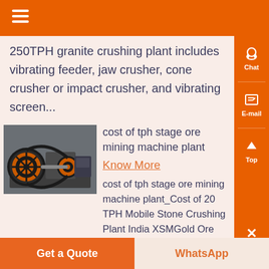250TPH granite crushing plant includes vibrating feeder, jaw crusher, cone crusher or impact crusher, and vibrating screen...
[Figure (photo): Industrial mining/crushing machine with orange wheels/pulleys and motor on a metal base]
cost of tph stage ore mining machine plant
Know More
cost of tph stage ore mining machine plant_Cost of 20 TPH Mobile Stone Crushing Plant India XSMGold Ore Crushing Machine ,
Get a Quote | WhatsApp